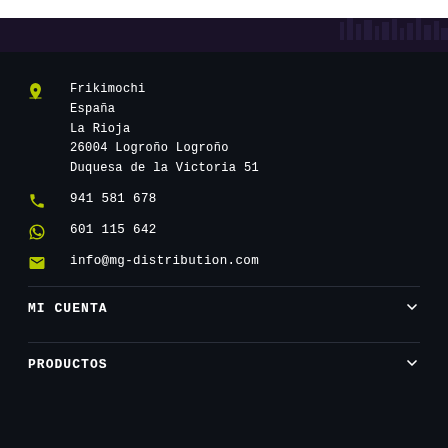[Figure (photo): Top banner with dark purple/navy gradient and faint cityscape image in top right corner]
Frikimochi
España
La Rioja
26004 Logroño Logroño
Duquesa de la Victoria 51
941 581 678
601 115 642
info@mg-distribution.com
MI CUENTA
PRODUCTOS